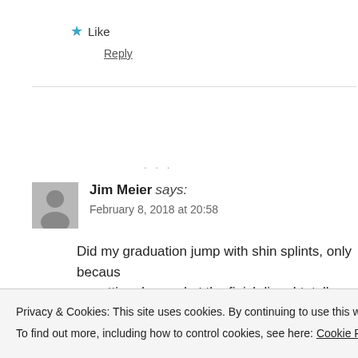★ Like
Reply
Jim Meier says:
February 8, 2018 at 20:58
Did my graduation jump with shin splints, only because or getting dropped at the finish line. I totally agree that
Privacy & Cookies: This site uses cookies. By continuing to use this website, you agree to their use.
To find out more, including how to control cookies, see here: Cookie Policy
Close and accept